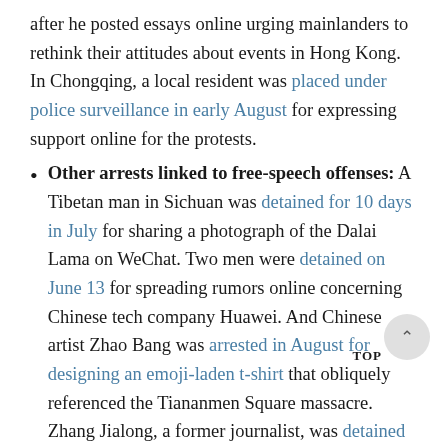after he posted essays online urging mainlanders to rethink their attitudes about events in Hong Kong. In Chongqing, a local resident was placed under police surveillance in early August for expressing support online for the protests.
Other arrests linked to free-speech offenses: A Tibetan man in Sichuan was detained for 10 days in July for sharing a photograph of the Dalai Lama on WeChat. Two men were detained on June 13 for spreading rumors online concerning Chinese tech company Huawei. And Chinese artist Zhao Bang was arrested in August for designing an emoji-laden t-shirt that obliquely referenced the Tiananmen Square massacre. Zhang Jialong, a former journalist, was detained on August 13 for “picking quarrels and provoking troubles.” Zhang was